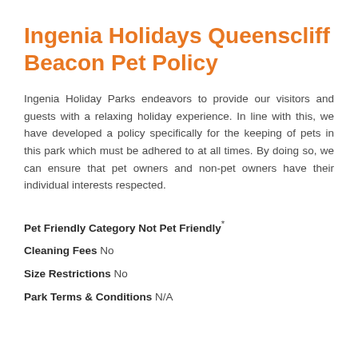Ingenia Holidays Queenscliff Beacon Pet Policy
Ingenia Holiday Parks endeavors to provide our visitors and guests with a relaxing holiday experience. In line with this, we have developed a policy specifically for the keeping of pets in this park which must be adhered to at all times. By doing so, we can ensure that pet owners and non-pet owners have their individual interests respected.
Pet Friendly Category Not Pet Friendly*
Cleaning Fees No
Size Restrictions No
Park Terms & Conditions N/A